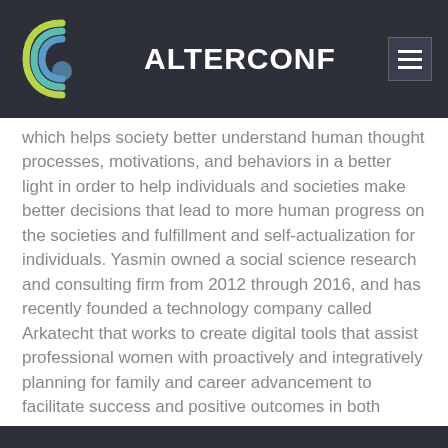ALTERCONF
which helps society better understand human thought processes, motivations, and behaviors in a better light in order to help individuals and societies make better decisions that lead to more human progress on the societies and fulfillment and self-actualization for individuals. Yasmin owned a social science research and consulting firm from 2012 through 2016, and has recently founded a technology company called Arkatecht that works to create digital tools that assist professional women with proactively and integratively planning for family and career advancement to facilitate success and positive outcomes in both areas.